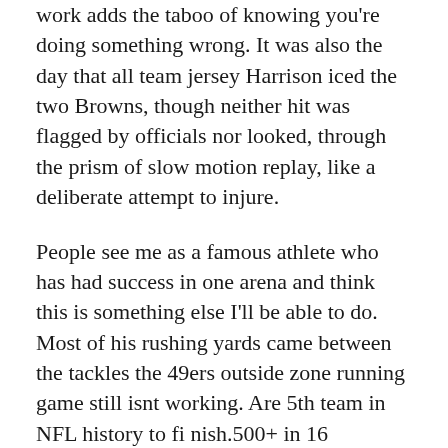work adds the taboo of knowing you're doing something wrong. It was also the day that all team jersey Harrison iced the two Browns, though neither hit was flagged by officials nor looked, through the prism of slow motion replay, like a deliberate attempt to injure.
People see me as a famous athlete who has had success in one arena and think this is something else I'll be able to do. Most of his rushing yards came between the tackles the 49ers outside zone running game still isnt working. Are 5th team in NFL history to fi nish.500+ in 16 consecutive seasons.
Miami and 170 against Kansas City. Soon to be free agent Terrelle Pryor had 1,007 yards last year in a bad Cleveland Browns offense and is still learning that position after moving from quarterback. Then again, it's just one more thing that may keep us up at night: If only they had given it to Marshawn; if only Lockette had been